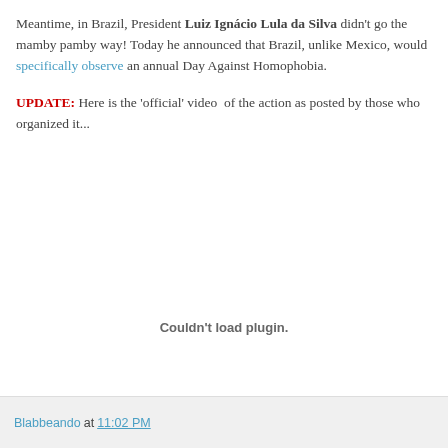Meantime, in Brazil, President Luiz Ignácio Lula da Silva didn't go the mamby pamby way! Today he announced that Brazil, unlike Mexico, would specifically observe an annual Day Against Homophobia.
UPDATE: Here is the 'official' video  of the action as posted by those who organized it...
[Figure (other): Video plugin area showing 'Couldn't load plugin.' message]
Blabbeando at 11:02 PM